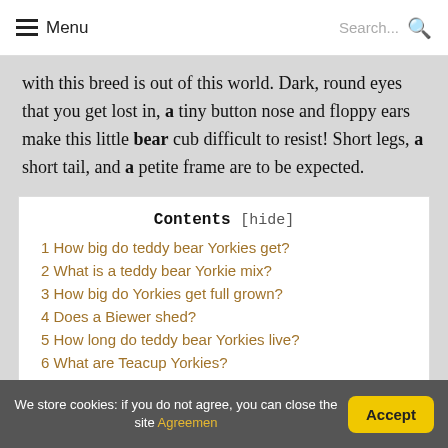Menu  Search...
with this breed is out of this world. Dark, round eyes that you get lost in, a tiny button nose and floppy ears make this little bear cub difficult to resist! Short legs, a short tail, and a petite frame are to be expected.
| Contents |
| --- |
| 1 How big do teddy bear Yorkies get? |
| 2 What is a teddy bear Yorkie mix? |
| 3 How big do Yorkies get full grown? |
| 4 Does a Biewer shed? |
| 5 How long do teddy bear Yorkies live? |
| 6 What are Teacup Yorkies? |
We store cookies: if you do not agree, you can close the site Agreemen